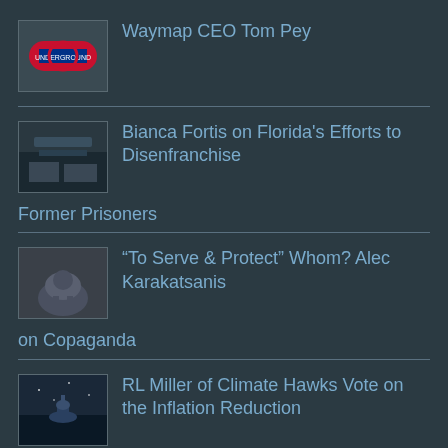Waymap CEO Tom Pey
Bianca Fortis on Florida's Efforts to Disenfranchise Former Prisoners
“To Serve & Protect” Whom? Alec Karakatsanis on Copaganda
RL Miller of Climate Hawks Vote on the Inflation Reduction Act
Daniel Nichanian